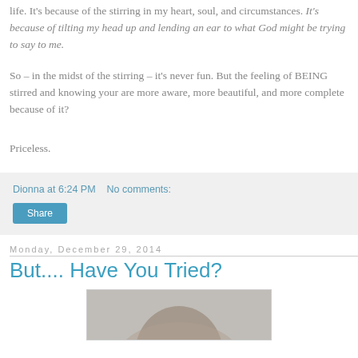life. It's because of the stirring in my heart, soul, and circumstances. It's because of tilting my head up and lending an ear to what God might be trying to say to me.
So – in the midst of the stirring – it's never fun. But the feeling of BEING stirred and knowing your are more aware, more beautiful, and more complete because of it?
Priceless.
Dionna at 6:24 PM   No comments:
Share
Monday, December 29, 2014
But.... Have You Tried?
[Figure (photo): Partial photo of a person, cropped at bottom of page]